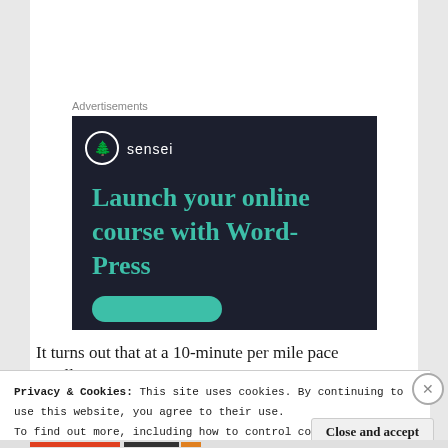Advertisements
[Figure (illustration): Sensei advertisement banner on dark navy background. Shows Sensei logo (tree icon in circle) with text 'sensei', followed by large teal headline 'Launch your online course with WordPress', and a teal rounded button at the bottom.]
It turns out that at a 10-minute per mile pace you'll burn about 10 calories a minute. If you run faster
Privacy & Cookies: This site uses cookies. By continuing to use this website, you agree to their use.
To find out more, including how to control cookies, see here: Cookie Policy
Close and accept